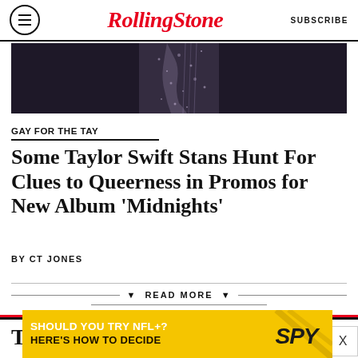Rolling Stone | SUBSCRIBE
[Figure (photo): Partial view of a performer in a sparkly/sequined outfit on a dark stage background]
GAY FOR THE TAY
Some Taylor Swift Stans Hunt For Clues to Queerness in Promos for New Album 'Midnights'
BY CT JONES
▼ READ MORE ▼
TRENDING
[Figure (infographic): Advertisement banner: SHOULD YOU TRY NFL+? HERE'S HOW TO DECIDE — SPY logo]